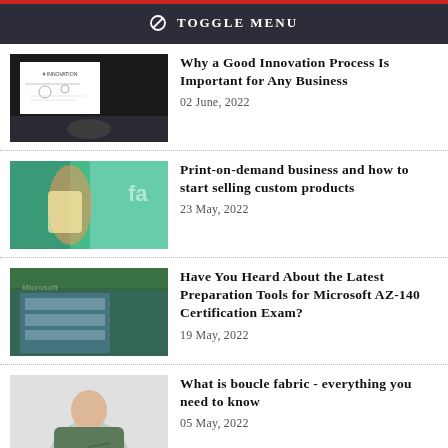⊘ TOGGLE MENU
[Figure (photo): Innovation whiteboard with diagrams]
Why a Good Innovation Process Is Important for Any Business
02 June, 2022
[Figure (photo): Girl holding artwork, colorful background]
Print-on-demand business and how to start selling custom products
23 May, 2022
[Figure (photo): Microsoft building exterior]
Have You Heard About the Latest Preparation Tools for Microsoft AZ-140 Certification Exam?
19 May, 2022
[Figure (photo): Woman in boucle fabric jacket]
What is boucle fabric - everything you need to know
05 May, 2022